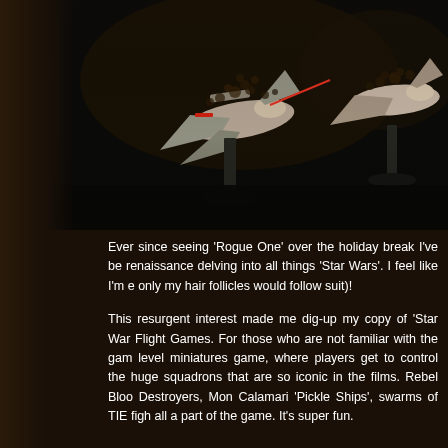[Figure (photo): Photograph of Star Wars miniature spaceship models (X-wings) on stands against a dark background]
Ever since seeing 'Rogue One' over the holiday break I've be renaissance delving into all things 'Star Wars'. I feel like I'm e only my hair follicles would follow suit)!
This resurgent interest made me dig-up my copy of 'Star War Flight Games. For those who are not familiar with the gam level miniatures game, where players get to control the huge squadrons that are so iconic in the films. Rebel Bloo Destroyers, Mon Calamari 'Pickle Ships', swarms of TIE figh all a part of the game. It's super fun.